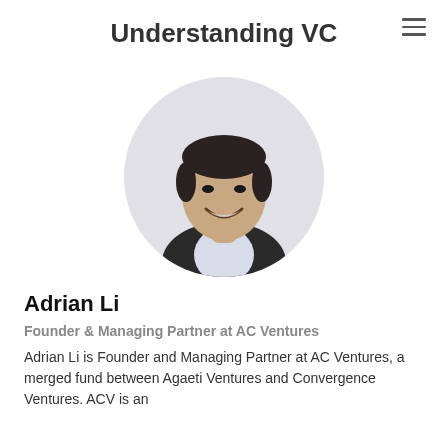Understanding VC
[Figure (photo): Circular profile photo of Adrian Li, a man in a dark blazer smiling, on a light grey background.]
Adrian Li
Founder & Managing Partner at AC Ventures
Adrian Li is Founder and Managing Partner at AC Ventures, a merged fund between Agaeti Ventures and Convergence Ventures. ACV is an